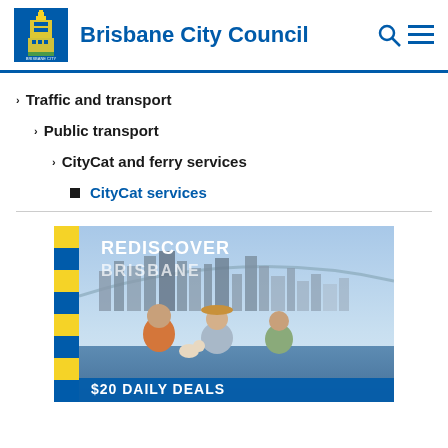Brisbane City Council
Traffic and transport
Public transport
CityCat and ferry services
CityCat services
[Figure (photo): Promotional banner: REDISCOVER BRISBANE — three people on a ferry boat with Brisbane city skyline in background, text $20 DAILY DEALS at bottom. Blue and yellow striped left sidebar.]